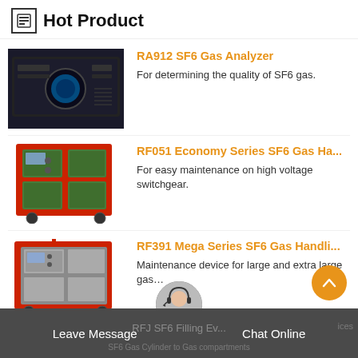Hot Product
[Figure (photo): RA912 SF6 Gas Analyzer - black rack-mounted device with circular display]
RA912 SF6 Gas Analyzer
For determining the quality of SF6 gas.
[Figure (photo): RF051 Economy Series SF6 Gas Handling Unit - green and red industrial equipment on wheels]
RF051 Economy Series SF6 Gas Ha...
For easy maintenance on high voltage switchgear.
[Figure (photo): RF391 Mega Series SF6 Gas Handling Unit - grey and red industrial equipment on wheels]
RF391 Mega Series SF6 Gas Handli...
Maintenance device for large and extra large gas…
Leave Message   RFJ SF6 Filling Ev...   Chat Online   Devices   SF6 Gas Cylinder to Gas compartments